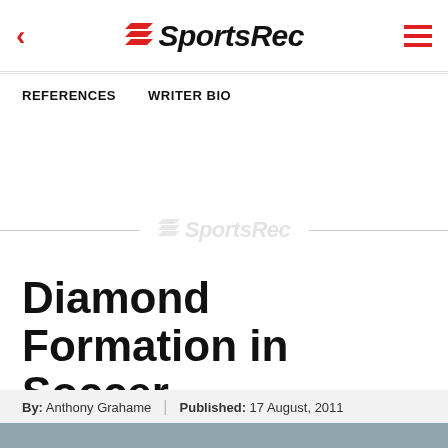SportsRec
REFERENCES   WRITER BIO
[Figure (logo): SportsRec watermark logo centered on page with horizontal rule lines on either side]
Diamond Formation in Soccer
By: Anthony Grahame | Published: 17 August, 2011